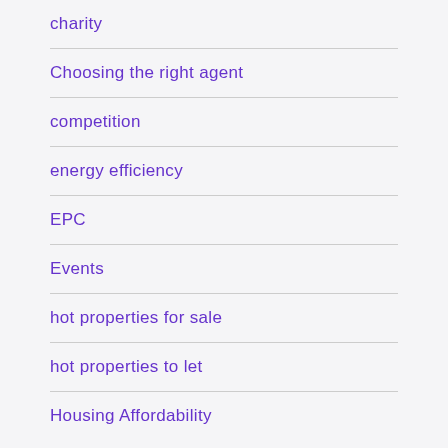charity
Choosing the right agent
competition
energy efficiency
EPC
Events
hot properties for sale
hot properties to let
Housing Affordability